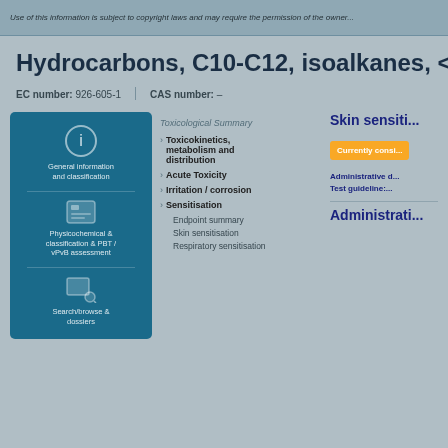Use of this information is subject to copyright laws and may require the permission...
Hydrocarbons, C10-C12, isoalkanes, <2%...
EC number: 926-605-1 | CAS number: -
[Figure (infographic): Blue panel with icons for general information, physicochemical properties and classification, and search/browse topics]
Toxicological Summary
Toxicokinetics, metabolism and distribution
Acute Toxicity
Irritation / corrosion
Sensitisation
Endpoint summary
Skin sensitisation
Respiratory sensitisation
Skin sensitisa...
Currently consi...
Administrative d...
Test guideline:...
Administrati...